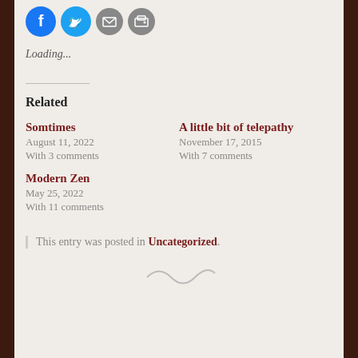[Figure (other): Social sharing icons: Facebook (blue circle), Twitter (blue circle), Email (grey circle with envelope), Print (grey circle with printer)]
Loading...
Related
Somtimes
August 11, 2022
With 3 comments
A little bit of telepathy
November 17, 2015
With 7 comments
Modern Zen
May 25, 2022
With 11 comments
This entry was posted in Uncategorized.